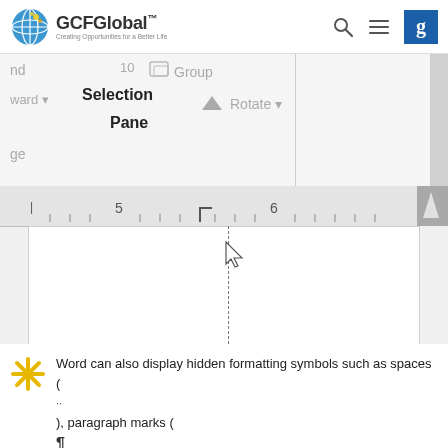GCFGlobal™ — Creating Opportunities for a Better Life
[Figure (screenshot): Microsoft Word screenshot showing the Selection Pane button in the toolbar ribbon, a ruler with markers at 5 and 6, a blank document area with a cursor and dashed vertical line indicating a tab stop position.]
Word can also display hidden formatting symbols such as spaces ( ), paragraph marks ( ), and tabs ( ) to help you see the formatting in your document.